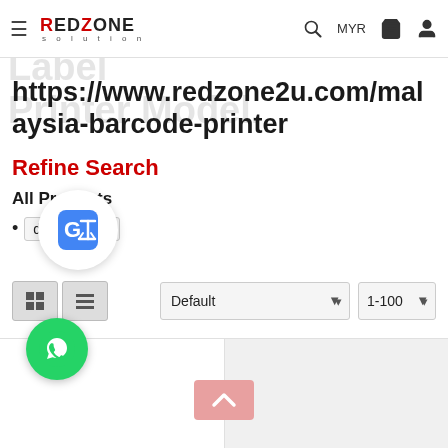RedZone solution — MYR
Barcode Printer & Label Printer Model.
https://www.redzone2u.com/malaysia-barcode-printer
Refine Search
All Products
Barcode Printer ▾
[Figure (screenshot): Google Translate overlay icon (G with translate arrows)]
[Figure (screenshot): Grid view and list view toggle buttons, Default sort dropdown, 1-100 per page dropdown]
[Figure (screenshot): WhatsApp green floating chat button and scroll-to-top pink button, two product placeholder areas]